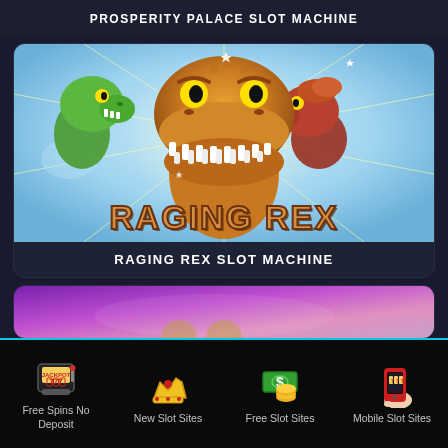PROSPERITY PALACE SLOT MACHINE
[Figure (illustration): Raging Rex slot machine game promotional image showing three dinosaur heads - a large T-Rex in center, green dinosaur on left, red dinosaur on right, with 'RAGING REX' text logo on a light blue background with star burst effects]
RAGING REX SLOT MACHINE
[Figure (photo): Partial view of another slot machine card with purple/pink gradient background]
Free Spins No Deposit
New Slot Sites
Free Slot Sites
Mobile Slot Sites